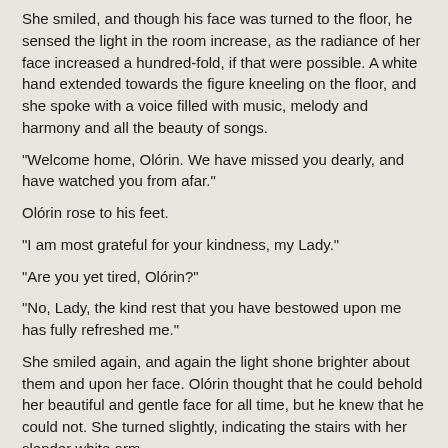She smiled, and though his face was turned to the floor, he sensed the light in the room increase, as the radiance of her face increased a hundred-fold, if that were possible. A white hand extended towards the figure kneeling on the floor, and she spoke with a voice filled with music, melody and harmony and all the beauty of songs.
"Welcome home, Olórin. We have missed you dearly, and have watched you from afar."
Olórin rose to his feet.
"I am most grateful for your kindness, my Lady."
"Are you yet tired, Olórin?"
"No, Lady, the kind rest that you have bestowed upon me has fully refreshed me."
She smiled again, and again the light shone brighter about them and upon her face. Olórin thought that he could behold her beautiful and gentle face for all time, but he knew that he could not. She turned slightly, indicating the stairs with her slender white arm.
"The Lord Súlimo awaits us."
Olórin followed her as she glided soundlessly up the stairwell. Up and up they climbed, and soon he could see down outside the tower in which he had lain. The tower stood atop the highest point of Taniquetil, greatest of all mountains in all of Arda. And still they climbed, up into the warmth of the sunlight, yet from below them shone also the light of Valinor, and in front of him, the radiance of